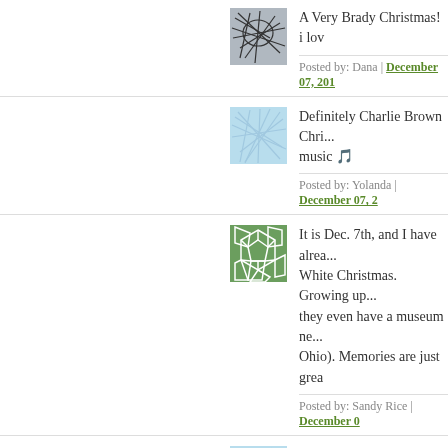[Figure (illustration): Abstract avatar with dark lines on grey-blue background]
A Very Brady Christmas! i lov
Posted by: Dana | December 07, 201
[Figure (illustration): Abstract avatar with light blue lines on light blue background]
Definitely Charlie Brown Chri... music 🎵
Posted by: Yolanda | December 07,
[Figure (illustration): Abstract avatar with white cell pattern on green background]
It is Dec. 7th, and I have alrea... White Christmas. Growing up... they even have a museum ne... Ohio). Memories are just grea
Posted by: Sandy Rice | December 0
[Figure (illustration): Abstract avatar with light blue lines on light blue background]
Although it seems they start p... earlier and earlier, the origina... me in the mood for the holida
Posted by: Susan | December 07, 20